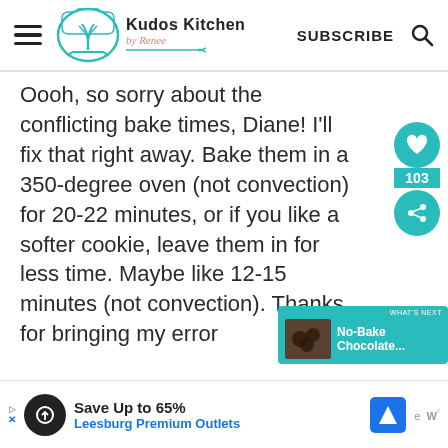Kudos Kitchen by Renee — SUBSCRIBE
Oooh, so sorry about the conflicting bake times, Diane! I'll fix that right away. Bake them in a 350-degree oven (not convection) for 20-22 minutes, or if you like a softer cookie, leave them in for less time. Maybe like 12-15 minutes (not convection). Thanks for bringing my error
[Figure (screenshot): Related content popup showing No-Bake Chocolate... with teal background]
[Figure (infographic): Save Up to 65% Leesburg Premium Outlets advertisement banner]